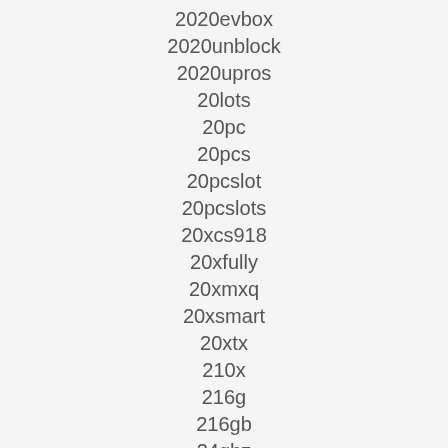2020evbox
2020unblock
2020upros
20lots
20pc
20pcs
20pcslot
20pcslots
20xcs918
20xfully
20xmxq
20xsmart
20xtx
210x
216g
216gb
24ghz
2g16g
2g8g
2g8g16g
2gb16gb